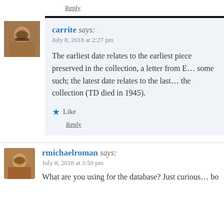Reply
carrite says:
July 8, 2018 at 2:27 pm
The earliest date relates to the earliest piece preserved in the collection, a letter from E… some such; the latest date relates to the last… the collection (TD died in 1945).
★ Like
Reply
rmichaelroman says:
July 8, 2018 at 3:50 pm
What are you using for the database? Just curious… bo